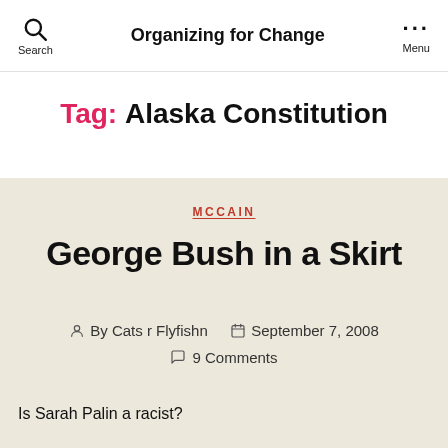Search | Organizing for Change | Menu
Tag: Alaska Constitution
MCCAIN
George Bush in a Skirt
By Cats r Flyfishn  September 7, 2008  9 Comments
Is Sarah Palin a racist?